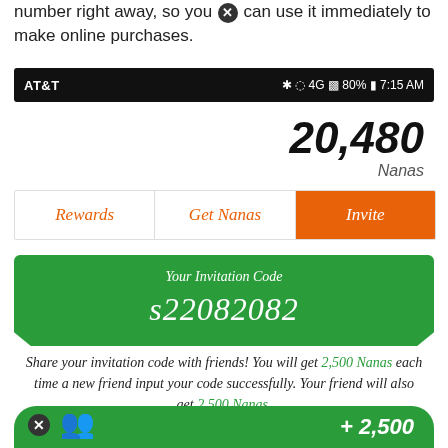number right away, so you can use it immediately to make online purchases.
[Figure (screenshot): Android status bar showing AT&T carrier, Bluetooth, alarm, 4G signal, 80% battery, 7:15 AM]
20,480 Nanas
[Figure (screenshot): Tab bar with three tabs: Rewards, Get Nanas, Invite (active/orange)]
[Figure (screenshot): Green invitation code box showing 'Your Invitation Code' and code 's22082082']
Share your invitation code with friends! You will get 2,500 Nanas each time a new friend input your code successfully. Your friend will also get 2,500 Nanas.
[Figure (screenshot): Green bonus bar at bottom showing people icon and + 2,500]